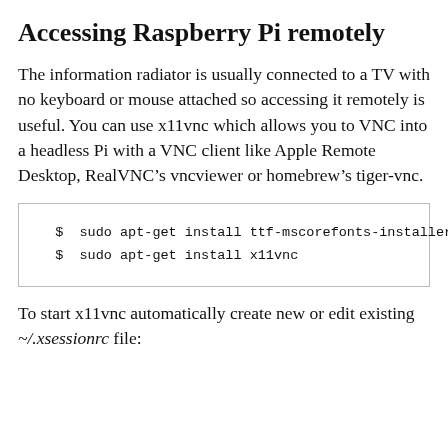Accessing Raspberry Pi remotely
The information radiator is usually connected to a TV with no keyboard or mouse attached so accessing it remotely is useful. You can use x11vnc which allows you to VNC into a headless Pi with a VNC client like Apple Remote Desktop, RealVNC’s vncviewer or homebrew’s tiger-vnc.
$ sudo apt-get install ttf-mscorefonts-installer
$ sudo apt-get install x11vnc
To start x11vnc automatically create new or edit existing ~/.xsessionrc file: